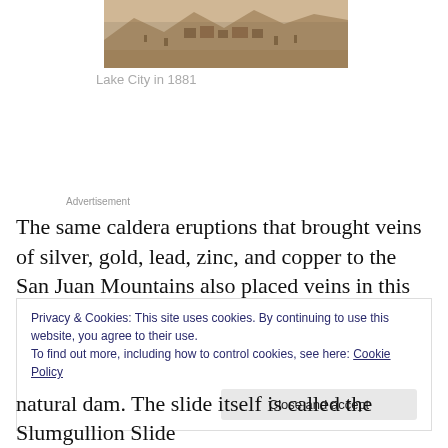[Figure (photo): Sepia-toned historic aerial or elevated photograph of Lake City in 1881, showing buildings and landscape.]
Lake City in 1881
Advertisement
The same caldera eruptions that brought veins of silver, gold, lead, zinc, and copper to the San Juan Mountains also placed veins in this area, cut into by glaciers to form
Privacy & Cookies: This site uses cookies. By continuing to use this website, you agree to their use.
To find out more, including how to control cookies, see here: Cookie Policy
[Close and accept]
natural dam. The slide itself is called the Slumgullion Slide